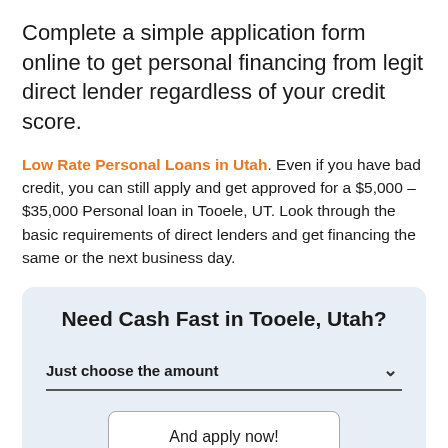Complete a simple application form online to get personal financing from legit direct lender regardless of your credit score.
Low Rate Personal Loans in Utah. Even if you have bad credit, you can still apply and get approved for a $5,000 – $35,000 Personal loan in Tooele, UT. Look through the basic requirements of direct lenders and get financing the same or the next business day.
Need Cash Fast in Tooele, Utah?
Just choose the amount
And apply now!